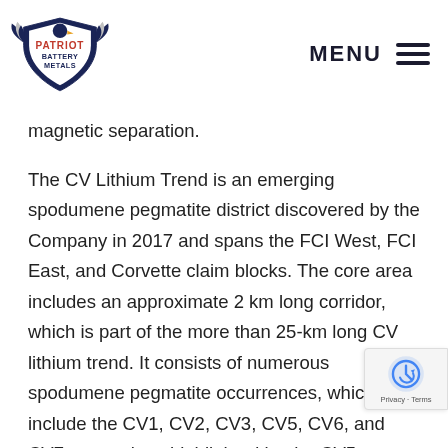Patriot Battery Metals — MENU
magnetic separation.
The CV Lithium Trend is an emerging spodumene pegmatite district discovered by the Company in 2017 and spans the FCI West, FCI East, and Corvette claim blocks. The core area includes an approximate 2 km long corridor, which is part of the more than 25-km long CV lithium trend. It consists of numerous spodumene pegmatite occurrences, which include the CV1, CV2, CV3, CV5, CV6, and CV7 pegmatites, highlighted by the CV5 Pegmatite – a large (~220 long and 20-40 m wide), well-mineralized outcrop with